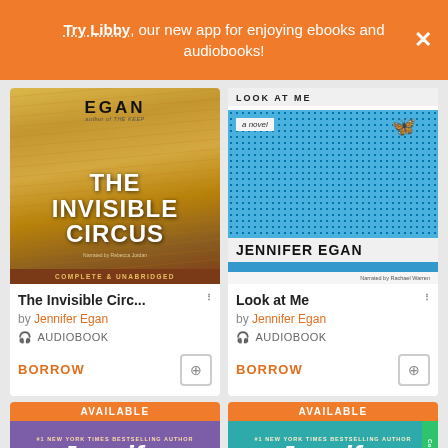Try Libby, our new app for enjoying ebooks and audiobooks!
[Figure (illustration): Book cover for The Invisible Circus audiobook by Jennifer Egan, narrated by Rebecca Jordan. Golden wheat field background with large white title text. Brown bottom bar reads COMPLETE & UNABRIDGED.]
The Invisible Circ...
by Jennifer Egan
🎧 AUDIOBOOK
BORROW
[Figure (illustration): Book cover for Look at Me audiobook by Jennifer Egan, narrated by Rachael Warren. Blue halftone dot pattern with butterfly. White sections show title LOOK AT ME and author name JENNIFER EGAN.]
Look at Me
by Jennifer Egan
🎧 AUDIOBOOK
BORROW
[Figure (illustration): Partial book cover, purple background, #1 New York Times Bestselling Author, Jennifer in large italic text. AVAILABLE banner at top.]
[Figure (illustration): Partial book cover, teal background, #1 New York Times Bestselling Author, Jennifer in large italic text. AVAILABLE banner at top. Green Contour tab on right.]